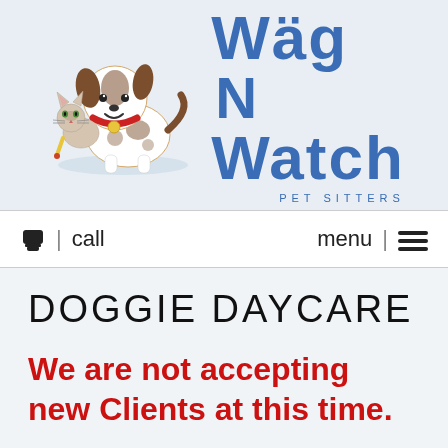[Figure (logo): Wag N Watch Pet Sitters logo with illustrated cartoon dog holding a cat, next to blue bold text reading 'Wäg N Watch' with 'PET SITTERS' beneath in spaced caps]
📞 | call    menu | ☰
DOGGIE DAYCARE
We are not accepting new Clients at this time.
Wag N Watch Pet Sitters provides fun-filled days of socializing in a safe environment for